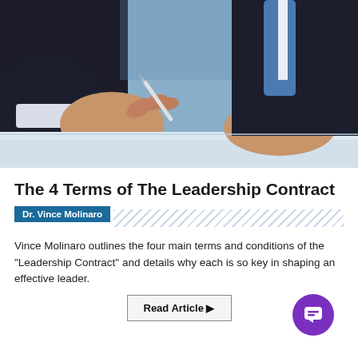[Figure (photo): Close-up photo of a businessman in a dark suit signing or writing on documents at a desk, holding a pen with both hands visible.]
The 4 Terms of The Leadership Contract
Dr. Vince Molinaro
Vince Molinaro outlines the four main terms and conditions of the "Leadership Contract" and details why each is so key in shaping an effective leader.
Read Article ▶